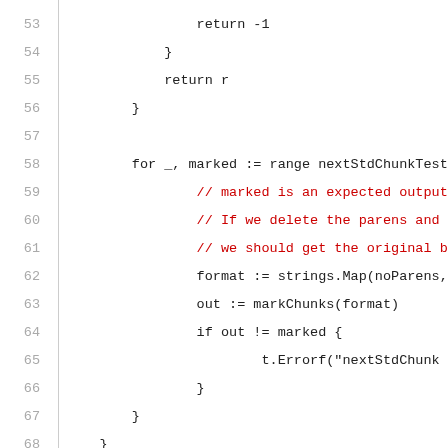53    return -1
54    }
55    return r
56  }
57
58  for _, marked := range nextStdChunkTest
59    // marked is an expected output
60    // If we delete the parens and p
61    // we should get the original ba
62    format := strings.Map(noParens,
63    out := markChunks(format)
64    if out != marked {
65      t.Errorf("nextStdChunk p
66    }
67  }
68  }
69
70  type TimeFormatTest struct {
71    time        Time
72    formattedValue string
73  }
74